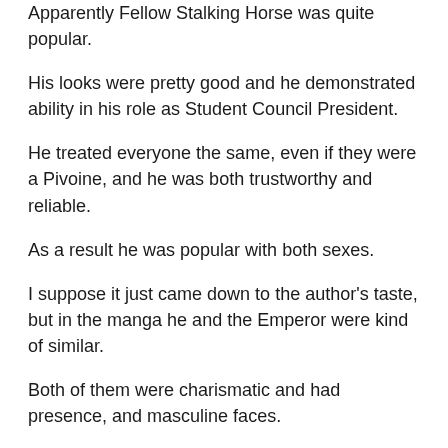Apparently Fellow Stalking Horse was quite popular.
His looks were pretty good and he demonstrated ability in his role as Student Council President.
He treated everyone the same, even if they were a Pivoine, and he was both trustworthy and reliable.
As a result he was popular with both sexes.
I suppose it just came down to the author's taste, but in the manga he and the Emperor were kind of similar.
Both of them were charismatic and had presence, and masculine faces.
In the colour illustrations their hair colours had made them look like a black panther and silver wolf.
In the colour illustrations their hair colours had made them look like a black panther and silver wolf.